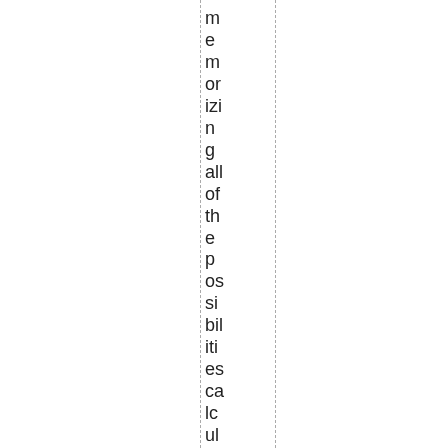memorizing all of the possibilities calculations strategies.